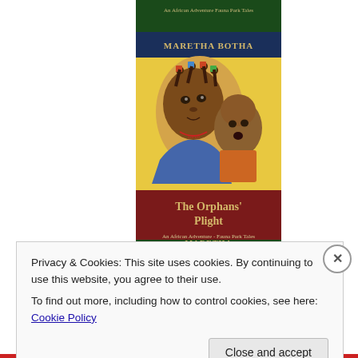[Figure (illustration): Book cover for 'The Orphans' Plight' by Maretha Botha. An African Adventure Fauna Park Tales series. Shows illustrated artwork of two African children — an older girl with braided hair decorated with bows and beads, and a younger child. The cover has dark blue, dark red/maroon, and dark green sections. Text on cover: 'An African Adventure Fauna Park Tales', 'MARETHA BOTHA', 'The Orphans' Plight', 'An African Adventure - Fauna Park Tales'. A partial second copy of the same cover is partially visible below.]
Privacy & Cookies: This site uses cookies. By continuing to use this website, you agree to their use.
To find out more, including how to control cookies, see here: Cookie Policy
Close and accept